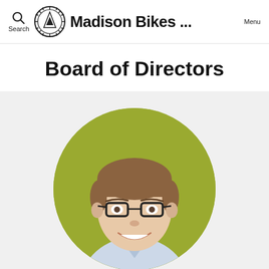Search  Madison Bikes ...  Menu
Board of Directors
[Figure (photo): Circular headshot of a young man with short brown hair and black-rimmed glasses, smiling, wearing a light blue collared shirt, set against an olive/yellow-green background.]